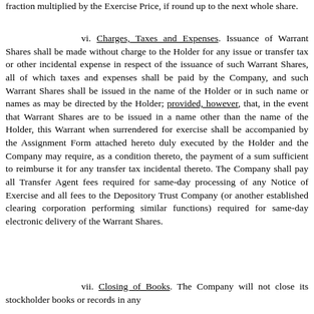fraction multiplied by the Exercise Price, if round up to the next whole share.
vi. Charges, Taxes and Expenses. Issuance of Warrant Shares shall be made without charge to the Holder for any issue or transfer tax or other incidental expense in respect of the issuance of such Warrant Shares, all of which taxes and expenses shall be paid by the Company, and such Warrant Shares shall be issued in the name of the Holder or in such name or names as may be directed by the Holder; provided, however, that, in the event that Warrant Shares are to be issued in a name other than the name of the Holder, this Warrant when surrendered for exercise shall be accompanied by the Assignment Form attached hereto duly executed by the Holder and the Company may require, as a condition thereto, the payment of a sum sufficient to reimburse it for any transfer tax incidental thereto. The Company shall pay all Transfer Agent fees required for same-day processing of any Notice of Exercise and all fees to the Depository Trust Company (or another established clearing corporation performing similar functions) required for same-day electronic delivery of the Warrant Shares.
vii. Closing of Books. The Company will not close its stockholder books or records in any